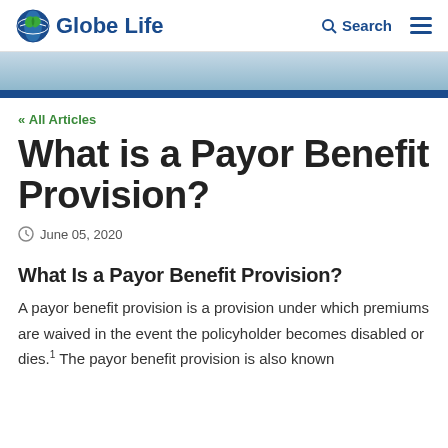Globe Life
« All Articles
What is a Payor Benefit Provision?
June 05, 2020
What Is a Payor Benefit Provision?
A payor benefit provision is a provision under which premiums are waived in the event the policyholder becomes disabled or dies.¹ The payor benefit provision is also known